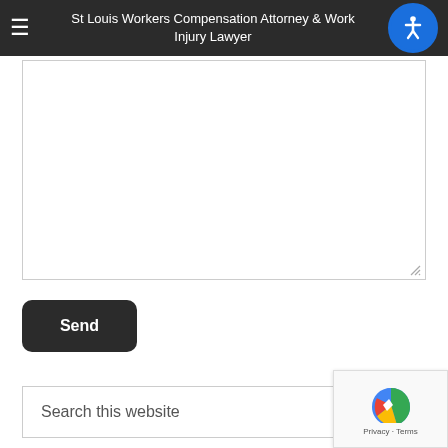St Louis Workers Compensation Attorney & Work Injury Lawyer
[Figure (other): Text area input box (empty), resizable]
Send
Search this website